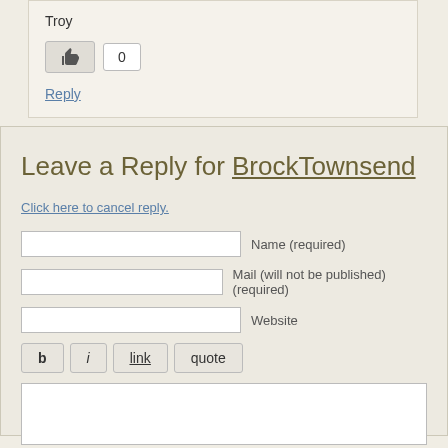Troy
[Figure (other): Like button with thumbs-up icon and count badge showing 0]
Reply
Leave a Reply for BrockTownsend
Click here to cancel reply.
Name (required)
Mail (will not be published) (required)
Website
b  i  link  quote